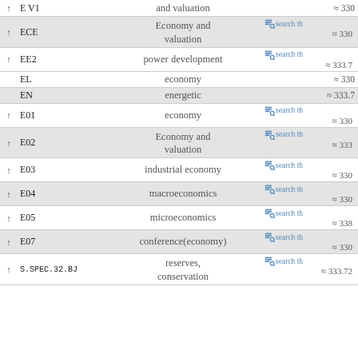|  | Code | Subject | Count / Search |
| --- | --- | --- | --- |
| ↑ | E V1 | and valuation | ≈ 330 |
| ↑ | ECE | Economy and valuation | search th… / ≈ 330 |
| ↑ | EE2 | power development | search th… / ≈ 333.7 |
|  | EL | economy | ≈ 330 |
|  | EN | energetic | ≈ 333.7 |
| ↑ | E01 | economy | search th… / ≈ 330 |
| ↑ | E02 | Economy and valuation | search th… / ≈ 333 |
| ↑ | E03 | industrial economy | search th… / ≈ 330 |
| ↑ | E04 | macroeconomics | search th… / ≈ 330 |
| ↑ | E05 | microeconomics | search th… / ≈ 338 |
| ↑ | E07 | conference(economy) | search th… / ≈ 330 |
| ↑ | S.SPEC.32.BJ | reserves, conservation | search th… / ≈ 333.72 |